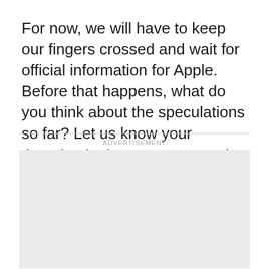For now, we will have to keep our fingers crossed and wait for official information for Apple. Before that happens, what do you think about the speculations so far? Let us know your thoughts in the comment section below
ADVERTISEMENT
[Figure (other): Empty gray advertisement placeholder box]